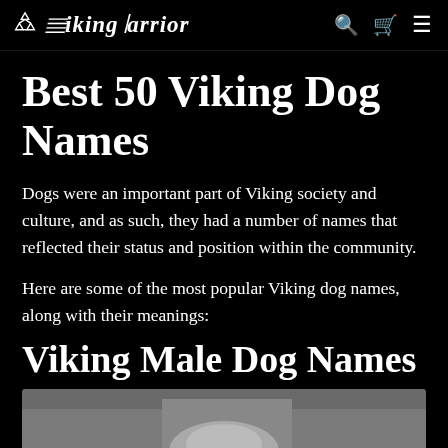Viking Warrior
Best 50 Viking Dog Names
Dogs were an important part of Viking society and culture, and as such, they had a number of names that reflected their status and position within the community.
Here are some of the most popular Viking dog names, along with their meanings:
Viking Male Dog Names
[Figure (photo): Photo of a dog, partially visible at bottom of page, grey and white tones]